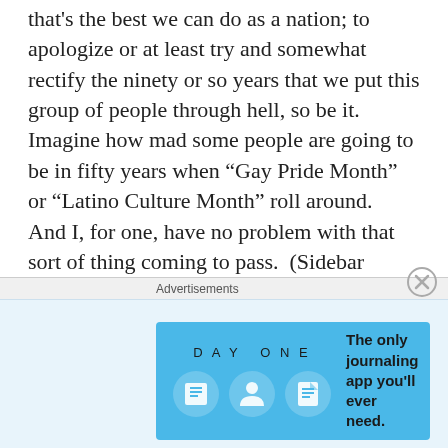that's the best we can do as a nation; to apologize or at least try and somewhat rectify the ninety or so years that we put this group of people through hell, so be it.  Imagine how mad some people are going to be in fifty years when “Gay Pride Month” or “Latino Culture Month” roll around.  And I, for one, have no problem with that sort of thing coming to pass.  (Sidebar worthy of another entire blog: if you discriminate/hate on gay people because of some stupid line of religious text, you are an ignorant bigot.  So stop that shit.)  We’re Americans.  More importantly, we’re Humans.  Let’s get over this cultural and racist divide and accept each other.  It's okay.  When the comet slams into Earth, it's not
Advertisements
[Figure (infographic): DAY ONE app advertisement banner with blue background, icons for a journal/notebook, person, and document, and text 'The only journaling app you'll ever need.']